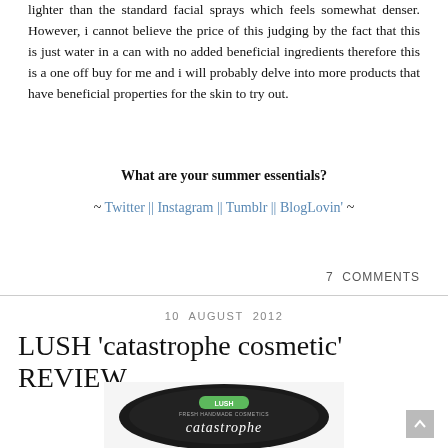lighter than the standard facial sprays which feels somewhat denser. However, i cannot believe the price of this judging by the fact that this is just water in a can with no added beneficial ingredients therefore this is a one off buy for me and i will probably delve into more products that have beneficial properties for the skin to try out.
What are your summer essentials?
~ Twitter || Instagram || Tumblr || BlogLovin' ~
7 COMMENTS
10 AUGUST 2012
LUSH 'catastrophe cosmetic' REVIEW
[Figure (photo): Product photo of LUSH 'catastrophe cosmetic' jar showing the LUSH Fresh Handmade Cosmetics logo and Catastrophe Cosmetic text on lid]